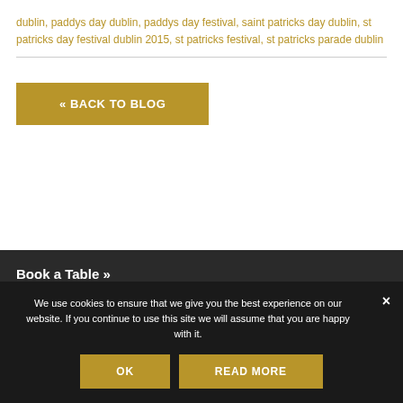dublin, paddys day dublin, paddys day festival, saint patricks day dublin, st patricks day festival dublin 2015, st patricks festival, st patricks parade dublin
« BACK TO BLOG
Book a Table »
We use cookies to ensure that we give you the best experience on our website. If you continue to use this site we will assume that you are happy with it.
OK
READ MORE